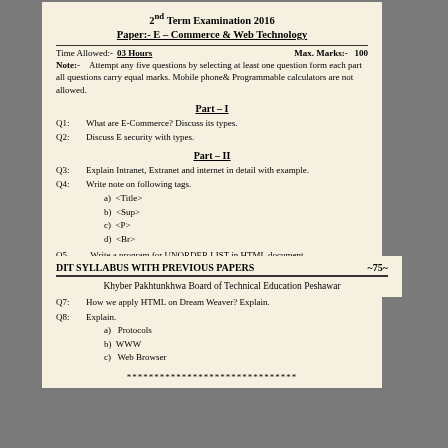2nd Term Examination 2016
Paper:- E – Commerce & Web Technology
Time Allowed:- 03 Hours    Max. Marks:- 100
Note:- Attempt any five questions by selecting at least one question form each part all questions carry equal marks. Mobile phone& Programmable calculators are not allowed.
Part – I
Q1: What are E-Commerce? Discuss its types.
Q2: Discuss E security with types.
Part – II
Q3: Explain Intranet, Extranet and internet in detail with example.
Q4: Write note on following tags.
a) <Title>
b) <Sup>
c) <P>
d) <Br>
Q5: Write a program for UNORDER LIST in HTML document.
Part – III
Q6: Write a note on dream weaver in detail.
Q7: How we apply HTML on Dream Weaver? Explain.
Q8: Explain.
a) Protocols
b) WWW
c) Web Browser
*******************************
DIT SYLLABUS WITH PREVIOUS PAPERS    ~75~
Khyber Pakhtunkhwa Board of Technical Education Peshawar